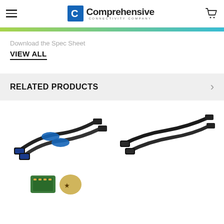Comprehensive Connectivity Company
Download the Spec Sheet
VIEW ALL
RELATED PRODUCTS
[Figure (photo): Two black HDMI cables with blue connectors/labels side by side]
[Figure (photo): Two black HDMI/mini cables side by side]
[Figure (photo): Small electronic components/adapters partially visible at bottom]